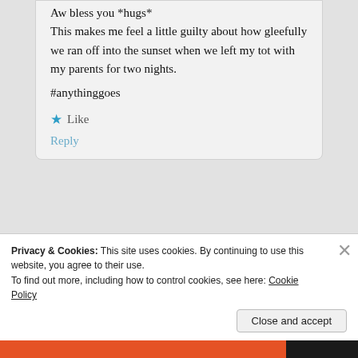Aw bless you *hugs*
This makes me feel a little guilty about how gleefully we ran off into the sunset when we left my tot with my parents for two nights.

#anythinggoes
★ Like
Reply
Pingback: My five proudest parenting moments | musingmummsblog
Privacy & Cookies: This site uses cookies. By continuing to use this website, you agree to their use.
To find out more, including how to control cookies, see here: Cookie Policy
Close and accept